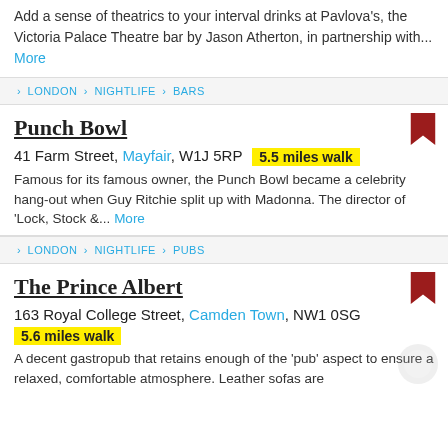Add a sense of theatrics to your interval drinks at Pavlova's, the Victoria Palace Theatre bar by Jason Atherton, in partnership with... More
> LONDON > NIGHTLIFE > BARS
Punch Bowl
41 Farm Street, Mayfair, W1J 5RP  5.5 miles walk
Famous for its famous owner, the Punch Bowl became a celebrity hang-out when Guy Ritchie split up with Madonna. The director of 'Lock, Stock &... More
> LONDON > NIGHTLIFE > PUBS
The Prince Albert
163 Royal College Street, Camden Town, NW1 0SG
5.6 miles walk
A decent gastropub that retains enough of the 'pub' aspect to ensure a relaxed, comfortable atmosphere. Leather sofas are